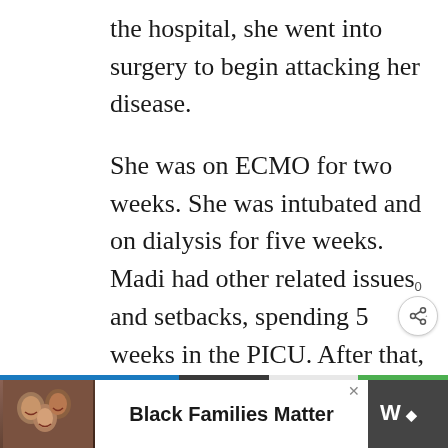the hospital, she went into surgery to begin attacking her disease.
She was on ECMO for two weeks. She was intubated and on dialysis for five weeks. Madi had other related issues and setbacks, spending 5 weeks in the PICU. After that, she spent another month in rehabilitation–eventually she was discharged after 93 days at St. Louis Children's Hospital.
[Figure (screenshot): Advertisement banner at the bottom: photo of smiling family on left, 'Black Families Matter' text in center, TV network logo on right. Color stripe bar above the ad.]